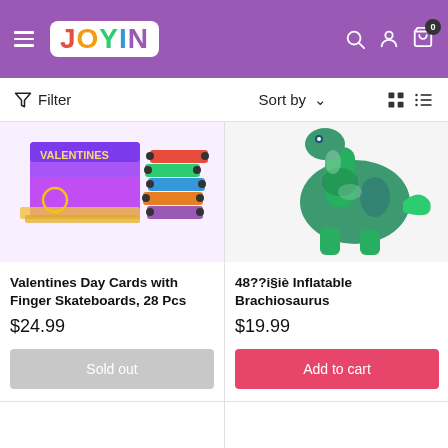[Figure (screenshot): Joyin toy store website header with purple background, hamburger menu, Joyin logo, search icon, account icon, and cart icon with 0 badge]
Filter   Sort by   [grid/list view icons]
[Figure (photo): Valentines Day Cards with Finger Skateboards product image showing colorful box with finger skateboards]
Valentines Day Cards with Finger Skateboards, 28 Pcs
$24.99
Sold out
[Figure (photo): Inflatable Brachiosaurus dinosaur toy, green colored]
48??i§iè Inflatable Brachiosaurus
$19.99
Add to cart